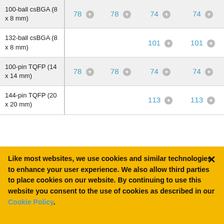| Package | Col1 | Col2 | Col3 | Col4 |
| --- | --- | --- | --- | --- |
| 100-ball csBGA (8 x 8 mm) | 78 + | 78 + | 74 + | 74 + |
| 132-ball csBGA (8 x 8 mm) |  |  | 101 + | 101 + |
| 100-pin TQFP (14 x 14 mm) | 78 + | 78 + | 74 + | 74 + |
| 144-pin TQFP (20 x 20 mm) |  |  | 113 + | 113 + |
Like most websites, we use cookies and similar technologies to enhance your user experience. We also allow third parties to place cookies on our website. By continuing to use this website you consent to the use of cookies as described in our Cookie Policy.